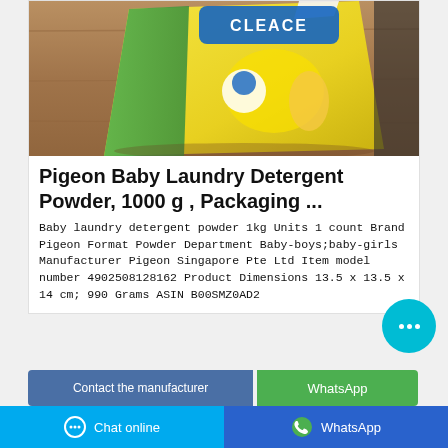[Figure (photo): Photo of a yellow Pigeon brand laundry detergent powder 1kg bag lying on a wooden table surface]
Pigeon Baby Laundry Detergent Powder, 1000 g , Packaging ...
Baby laundry detergent powder 1kg Units 1 count Brand Pigeon Format Powder Department Baby-boys;baby-girls Manufacturer Pigeon Singapore Pte Ltd Item model number 4902508128162 Product Dimensions 13.5 x 13.5 x 14 cm; 990 Grams ASIN B00SMZ0AD2